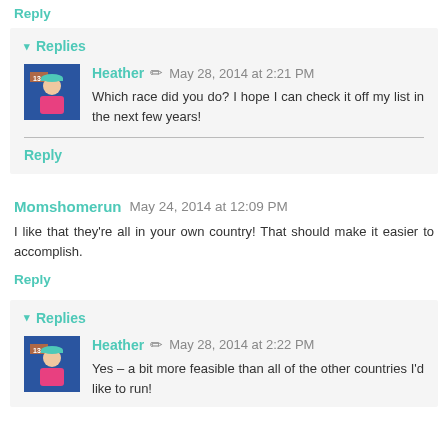Reply
▾ Replies
Heather  ✏  May 28, 2014 at 2:21 PM
Which race did you do? I hope I can check it off my list in the next few years!
Reply
Momshomerun  May 24, 2014 at 12:09 PM
I like that they're all in your own country! That should make it easier to accomplish.
Reply
▾ Replies
Heather  ✏  May 28, 2014 at 2:22 PM
Yes – a bit more feasible than all of the other countries I'd like to run!